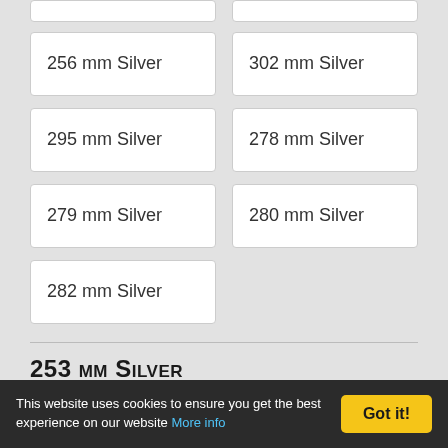256 mm Silver
302 mm Silver
295 mm Silver
278 mm Silver
279 mm Silver
280 mm Silver
282 mm Silver
253 mm Silver
£80.00
✗ Out of stock
This website uses cookies to ensure you get the best experience on our website More info   Got it!